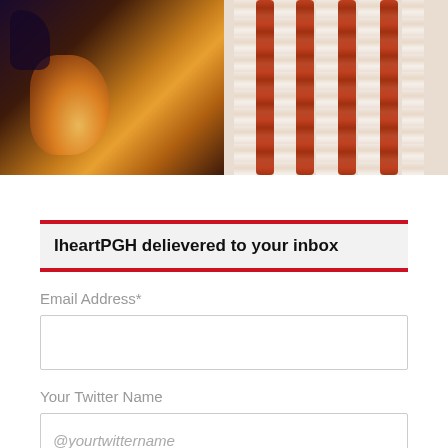[Figure (photo): Two side-by-side images: left shows a fantasy/artistic scene with glowing warm light and figures, right shows close-up of bacon strips on a light background]
IheartPGH delievered to your inbox
Email Address*
Your Twitter Name
@yourtwittername